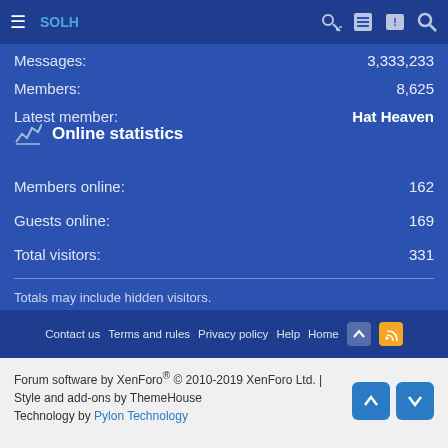SOLH
Messages: 3,333,233
Members: 8,625
Latest member: Hat Heaven
Online statistics
Members online: 162
Guests online: 169
Total visitors: 331
Totals may include hidden visitors.
Contact us  Terms and rules  Privacy policy  Help  Home
Forum software by XenForo® © 2010-2019 XenForo Ltd. | Style and add-ons by ThemeHouse
Technology by Pylon Technology